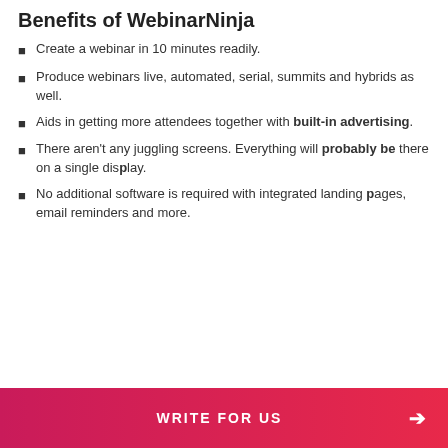Benefits of WebinarNinja
Create a webinar in 10 minutes readily.
Produce webinars live, automated, serial, summits and hybrids as well.
Aids in getting more attendees together with built-in advertising.
There aren't any juggling screens. Everything will probably be there on a single display.
No additional software is required with integrated landing pages, email reminders and more.
WRITE FOR US →